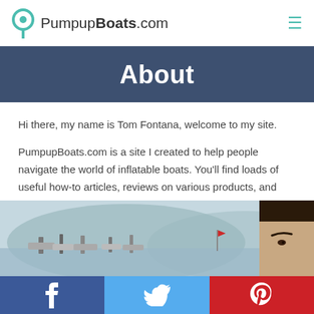PumpupBoats.com
About
Hi there, my name is Tom Fontana, welcome to my site.
PumpupBoats.com is a site I created to help people navigate the world of inflatable boats. You'll find loads of useful how-to articles, reviews on various products, and lengthy guides on everything that involves inflatable watercraft.
[Figure (photo): Outdoor photo showing boats moored at a marina with hills in background, and a partial view of a person's face on the right side.]
f  (Facebook)  Twitter  P (Pinterest) social share buttons